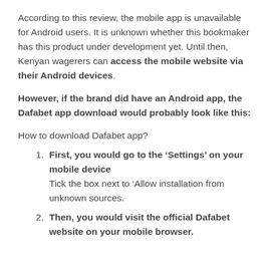According to this review, the mobile app is unavailable for Android users. It is unknown whether this bookmaker has this product under development yet. Until then, Kenyan wagerers can access the mobile website via their Android devices.
However, if the brand did have an Android app, the Dafabet app download would probably look like this:
How to download Dafabet app?
First, you would go to the ‘Settings’ on your mobile device
Tick the box next to ‘Allow installation from unknown sources.
Then, you would visit the official Dafabet website on your mobile browser.